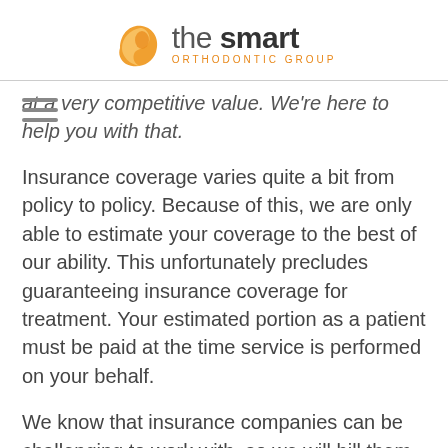the smart ORTHODONTIC GROUP
at a very competitive value. We're here to help you with that.
Insurance coverage varies quite a bit from policy to policy. Because of this, we are only able to estimate your coverage to the best of our ability. This unfortunately precludes guaranteeing insurance coverage for treatment. Your estimated portion as a patient must be paid at the time service is performed on your behalf.
We know that insurance companies can be challenging to work with, so we will bill them on your behalf as a service to you, but it is up you to